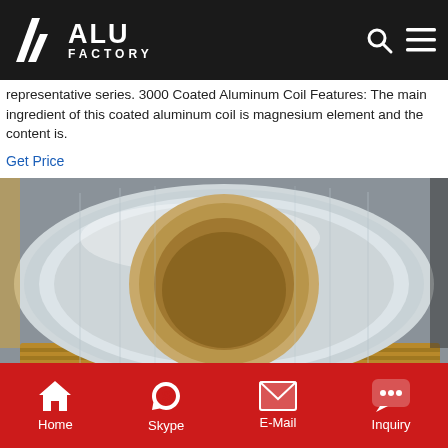ALU FACTORY
representative series. 3000 Coated Aluminum Coil Features: The main ingredient of this coated aluminum coil is magnesium element and the content is.
Get Price
[Figure (photo): Large roll of aluminum coil on wooden pallet, showing shiny silver metallic surface and hollow cardboard core, stored in an industrial warehouse]
Home  Skype  E-Mail  Inquiry